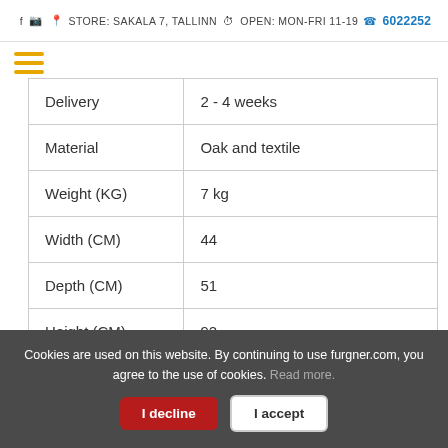f  ☷  STORE: SAKALA 7, TALLINN  ⊙  OPEN: MON-FRI 11-19  ☎ 6022252
| Delivery | 2 - 4 weeks |
| Material | Oak and textile |
| Weight (KG) | 7 kg |
| Width (CM) | 44 |
| Depth (CM) | 51 |
| Height (CM) | 92 |
* The product can be ordered in pairs, the price (219€) applies to one
Cookies are used on this website. By continuing to use furgner.com, you agree to the use of cookies. Read more.